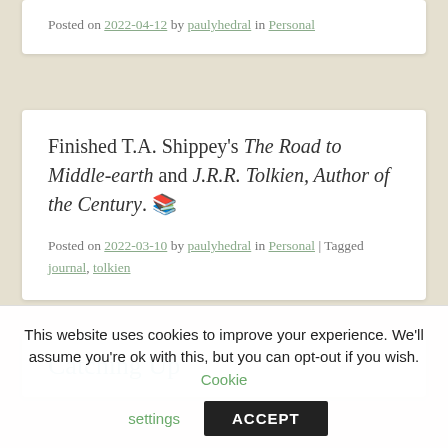Posted on 2022-04-12 by paulyhedral in Personal
Finished T.A. Shippey’s The Road to Middle-earth and J.R.R. Tolkien, Author of the Century. 📚
Posted on 2022-03-10 by paulyhedral in Personal | Tagged journal, tolkien
Catching Up
This website uses cookies to improve your experience. We'll assume you're ok with this, but you can opt-out if you wish. Cookie settings ACCEPT